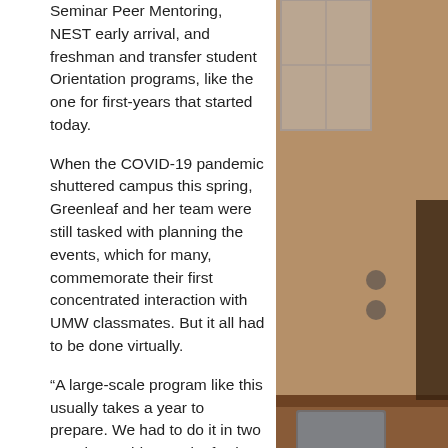Seminar Peer Mentoring, NEST early arrival, and freshman and transfer student Orientation programs, like the one for first-years that started today.
When the COVID-19 pandemic shuttered campus this spring, Greenleaf and her team were still tasked with planning the events, which for many, commemorate their first concentrated interaction with UMW classmates. But it all had to be done virtually.
“A large-scale program like this usually takes a year to prepare. We had to do it in two months,” said Greenleaf, who earned a master’s degree in counseling and college student personnel from Shippensburg University in Pennsylvania. Hailing the preparations as a “team effort,” Greenleaf praised her UMW colleagues and student leaders who have worked to make Orientation happen.
[Figure (photo): Photo of a person (partially visible) near a desk and window, interior setting with wooden furniture. Caption reads 'Coordinator c']
Coordinator c
Held over Zoom, the one-day online experience gives new students the chance to learn how to use Canvas and UMW email, and ask questions about their schedules and majors. They’ll meet President Troy Paino, become acquainted with the University’s ASPIRE, and watch “UMW Live,” featuring prerecorded skits – written by a ... campus life and resources.